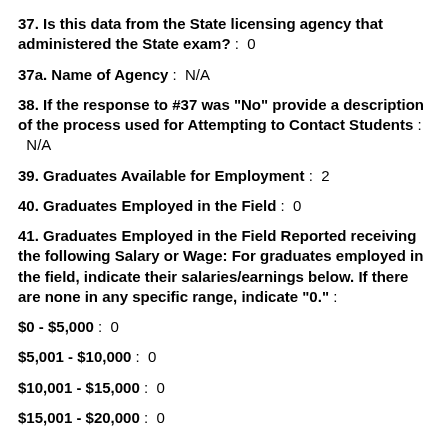37. Is this data from the State licensing agency that administered the State exam? :  0
37a. Name of Agency :  N/A
38. If the response to #37 was "No" provide a description of the process used for Attempting to Contact Students :  N/A
39. Graduates Available for Employment :  2
40. Graduates Employed in the Field :  0
41. Graduates Employed in the Field Reported receiving the following Salary or Wage: For graduates employed in the field, indicate their salaries/earnings below. If there are none in any specific range, indicate "0." :
$0 - $5,000 :  0
$5,001 - $10,000 :  0
$10,001 - $15,000 :  0
$15,001 - $20,000 :  0